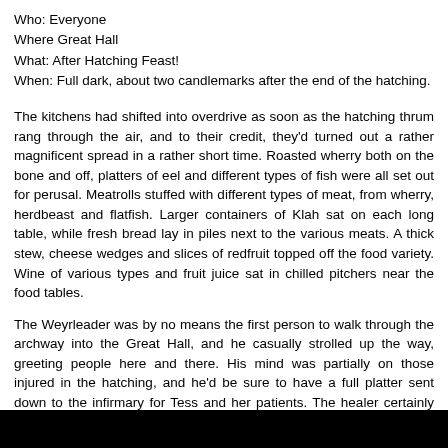Who: Everyone
Where Great Hall
What: After Hatching Feast!
When: Full dark, about two candlemarks after the end of the hatching.
The kitchens had shifted into overdrive as soon as the hatching thrum rang through the air, and to their credit, they'd turned out a rather magnificent spread in a rather short time. Roasted wherry both on the bone and off, platters of eel and different types of fish were all set out for perusal. Meatrolls stuffed with different types of meat, from wherry, herdbeast and flatfish. Larger containers of Klah sat on each long table, while fresh bread lay in piles next to the various meats. A thick stew, cheese wedges and slices of redfruit topped off the food variety. Wine of various types and fruit juice sat in chilled pitchers near the food tables.
The Weyrleader was by no means the first person to walk through the archway into the Great Hall, and he casually strolled up the way, greeting people here and there. His mind was partially on those injured in the hatching, and he'd be sure to have a full platter sent down to the infirmary for Tess and her patients. The healer certainly had set to with a passion soon as the last weyrling was bonded. He admired that about her, though he'd never actually say it aloud! Enough that she didn't respect his position… he grinned to himself at the outright lies his mind decided to tell while he was distracted. Good friends were allowed to ignore certain